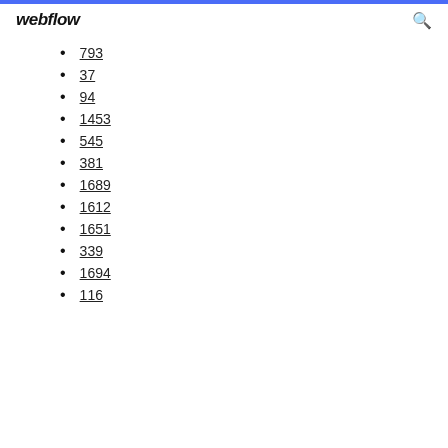webflow
793
37
94
1453
545
381
1689
1612
1651
339
1694
116